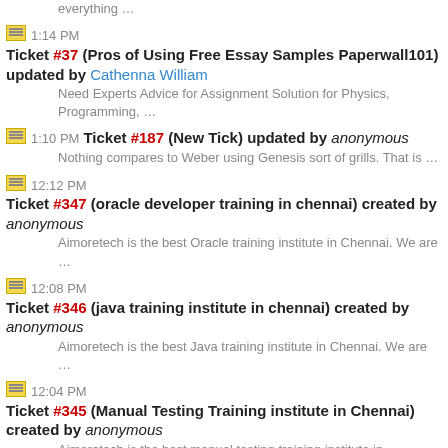everything …
1:14 PM Ticket #37 (Pros of Using Free Essay Samples Paperwall101) updated by Cathenna William — Need Experts Advice for Assignment Solution for Physics, Programming, …
1:10 PM Ticket #187 (New Tick) updated by anonymous — Nothing compares to Weber using Genesis sort of grills. That is …
12:12 PM Ticket #347 (oracle developer training in chennai) created by anonymous — Aimoretech is the best Oracle training institute in Chennai. We are …
12:08 PM Ticket #346 (java training institute in chennai) created by anonymous — Aimoretech is the best Java training institute in Chennai. We are …
12:04 PM Ticket #345 (Manual Testing Training institute in Chennai) created by anonymous — Aimoretech is the best manual testing training institute in